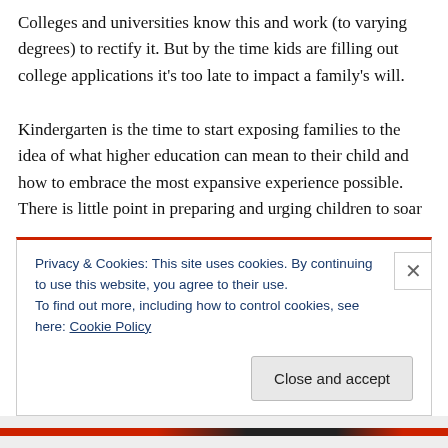Colleges and universities know this and work (to varying degrees) to rectify it. But by the time kids are filling out college applications it's too late to impact a family's will.
Kindergarten is the time to start exposing families to the idea of what higher education can mean to their child and how to embrace the most expansive experience possible. There is little point in preparing and urging children to soar
Privacy & Cookies: This site uses cookies. By continuing to use this website, you agree to their use.
To find out more, including how to control cookies, see here: Cookie Policy